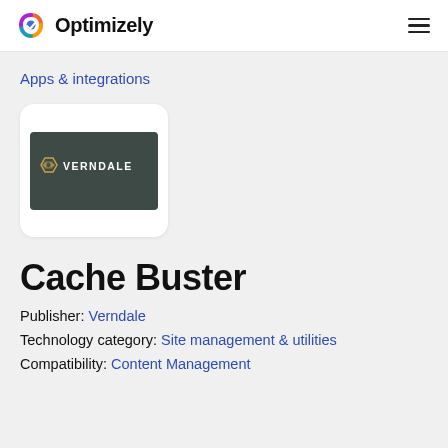Optimizely
Apps & integrations
[Figure (logo): Verndale company logo on dark teal/green background]
Cache Buster
Publisher: Verndale
Technology category: Site management & utilities
Compatibility: Content Management